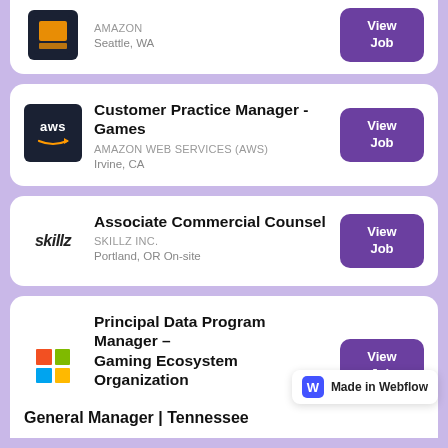[Figure (logo): Amazon logo partial card - AMAZON, Seattle, WA with View Job button]
AMAZON
Seattle, WA
[Figure (logo): AWS logo - dark navy square with aws text and arrow]
Customer Practice Manager - Games
AMAZON WEB SERVICES (AWS)
Irvine, CA
[Figure (logo): Skillz logo - italic text]
Associate Commercial Counsel
SKILLZ INC.
Portland, OR On-site
[Figure (logo): Microsoft four-color grid logo]
Principal Data Program Manager – Gaming Ecosystem Organization
MICROSOFT
Redmond, WA
Made in Webflow
General Manager | Tennessee